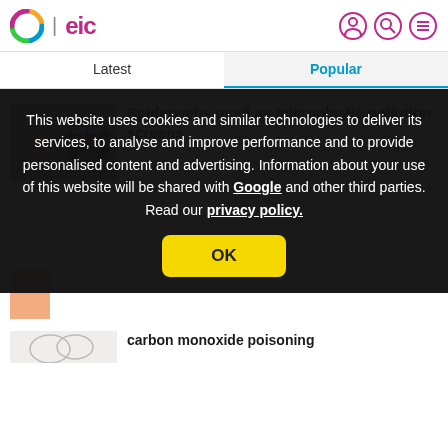C | eic
Latest | Popular
Spiderwebs used as microplastic pollution screens
This website uses cookies and similar technologies to deliver its services, to analyse and improve performance and to provide personalised content and advertising. Information about your use of this website will be shared with Google and other third parties. Read our privacy policy.
OK
carbon monoxide poisoning